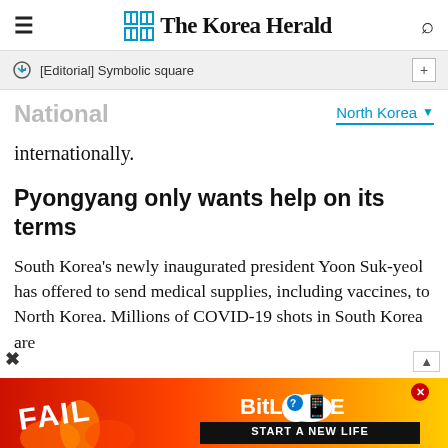The Korea Herald
[Editorial] Symbolic square
National
North Korea
internationally.
Pyongyang only wants help on its terms
South Korea's newly inaugurated president Yoon Suk-yeol has offered to send medical supplies, including vaccines, to North Korea. Millions of COVID-19 shots in South Korea are
[Figure (screenshot): BitLife advertisement banner with 'FAIL' text and 'START A NEW LIFE' tagline on a fiery background]